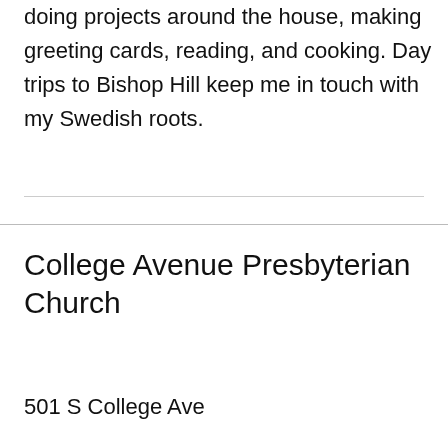doing projects around the house, making greeting cards, reading, and cooking. Day trips to Bishop Hill keep me in touch with my Swedish roots.
College Avenue Presbyterian Church
501 S College Ave